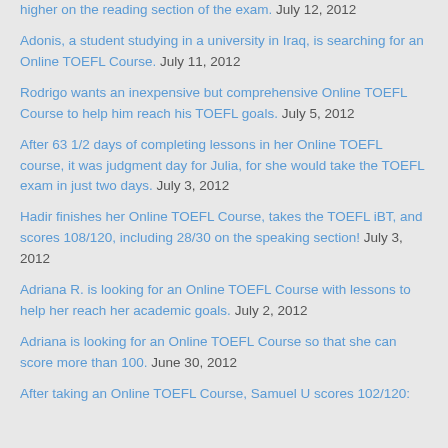higher on the reading section of the exam. July 12, 2012
Adonis, a student studying in a university in Iraq, is searching for an Online TOEFL Course. July 11, 2012
Rodrigo wants an inexpensive but comprehensive Online TOEFL Course to help him reach his TOEFL goals. July 5, 2012
After 63 1/2 days of completing lessons in her Online TOEFL course, it was judgment day for Julia, for she would take the TOEFL exam in just two days. July 3, 2012
Hadir finishes her Online TOEFL Course, takes the TOEFL iBT, and scores 108/120, including 28/30 on the speaking section! July 3, 2012
Adriana R. is looking for an Online TOEFL Course with lessons to help her reach her academic goals. July 2, 2012
Adriana is looking for an Online TOEFL Course so that she can score more than 100. June 30, 2012
After taking an Online TOEFL Course, Samuel U scores 102/120: